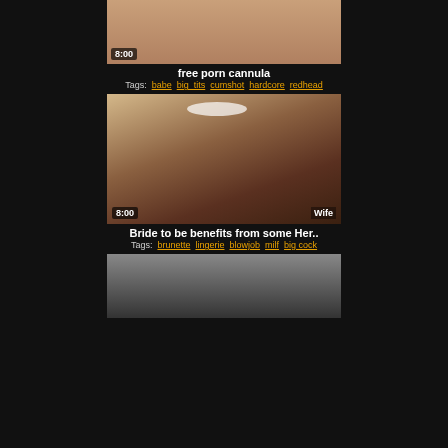[Figure (photo): Partial video thumbnail at top of page, cropped]
8:00
free porn cannula
Tags: babe  big_tits  cumshot  hardcore  redhead
[Figure (photo): Video thumbnail showing person in maid outfit, timestamp 8:00, watermark Wife]
8:00
Bride to be benefits from some Her..
Tags: brunette  lingerie  blowjob  milf  big cock
[Figure (photo): Partial video thumbnail at bottom of page, cropped]